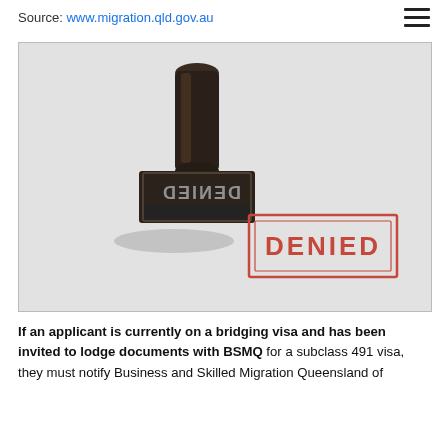Source: www.migration.qld.gov.au
[Figure (photo): A rubber stamp with 'DENIED' text (shown in mirror reflection on the stamp head) placed next to a red-bordered rectangular stamp impression reading 'DENIED' on a light grey background.]
If an applicant is currently on a bridging visa and has been invited to lodge documents with BSMQ for a subclass 491 visa, they must notify Business and Skilled Migration Queensland of